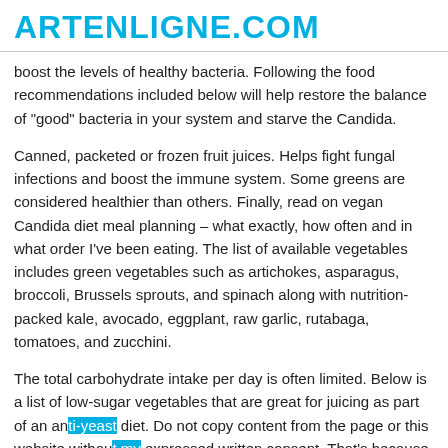ARTENLIGNE.COM
boost the levels of healthy bacteria. Following the food recommendations included below will help restore the balance of "good" bacteria in your system and starve the Candida.
Canned, packeted or frozen fruit juices. Helps fight fungal infections and boost the immune system. Some greens are considered healthier than others. Finally, read on vegan Candida diet meal planning – what exactly, how often and in what order I've been eating. The list of available vegetables includes green vegetables such as artichokes, asparagus, broccoli, Brussels sprouts, and spinach along with nutrition-packed kale, avocado, eggplant, raw garlic, rutabaga, tomatoes, and zucchini.
The total carbohydrate intake per day is often limited. Below is a list of low-sugar vegetables that are great for juicing as part of an anti-yeast diet. Do not copy content from the page or this website without my expressed written consent. That's because it has antifungal